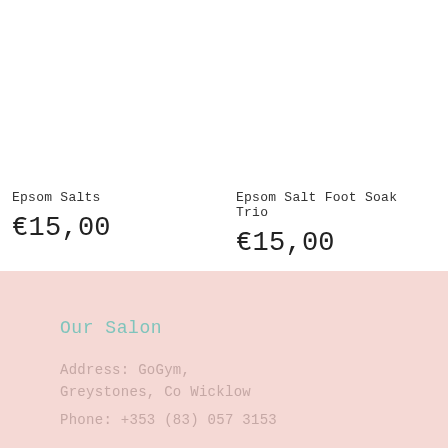Epsom Salts
€15,00
View item
Epsom Salt Foot Soak Trio
€15,00
Add to cart
Our Salon
Address: GoGym,
Greystones, Co Wicklow
Phone: +353 (83) 057 3153